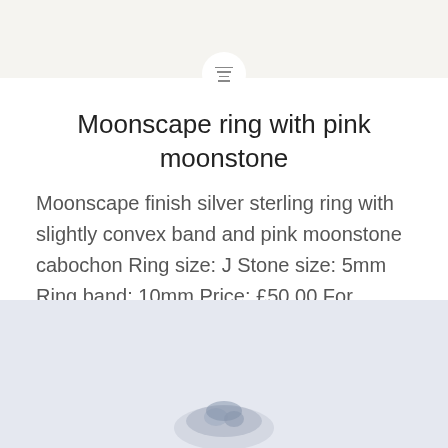[Figure (other): Website header bar with navigation icon (hamburger menu inside a circle) on a light beige background]
Moonscape ring with pink moonstone
Moonscape finish silver sterling ring with slightly convex band and pink moonstone cabochon Ring size: J Stone size: 5mm Ring band: 10mm Price: £50.00 For orders, or more information, please e-mail anniamarcus@aol.com
[Figure (photo): Photo of a silver ring with pink moonstone on a light blue-grey background, partially visible at the bottom of the page]